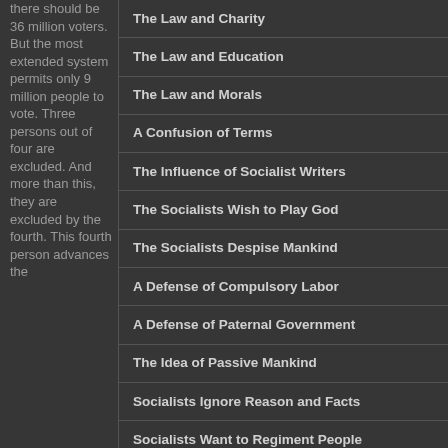there should be 36 million voters. But the most extended system permits only 9 million people to vote. Three persons out of four are excluded. And more than this, they are excluded by the fourth. This fourth person advances the
The Law and Charity
The Law and Education
The Law and Morals
A Confusion of Terms
The Influence of Socialist Writers
The Socialists Wish to Play God
The Socialists Despise Mankind
A Defense of Compulsory Labor
A Defense of Paternal Government
The Idea of Passive Mankind
Socialists Ignore Reason and Facts
Socialists Want to Regiment People